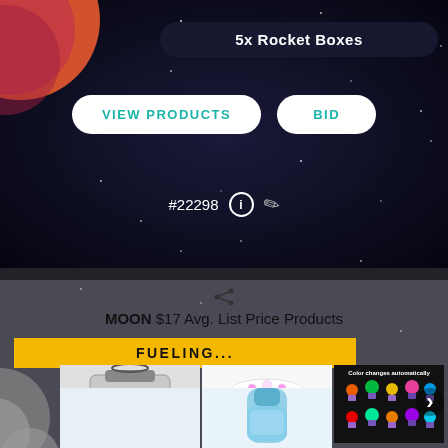[Figure (screenshot): Top half of mobile app screenshot showing space-themed auction listing for '5x Rocket Boxes' with VIEW PRODUCTS and BID buttons, listing number #22298 with info and clip icons, on dark starfield background with rocket graphic top-left.]
5x Rocket Boxes
VIEW PRODUCTS
BID
#22298
[Figure (screenshot): Bottom section showing MOON $17 Avg. List Price Products with FUELING... yellow banner and product images grid including lunch bag, popcorn bowl, color-changing LED night lights, and water bottle.]
MOON $17 Avg. List Price Products
FUELING...